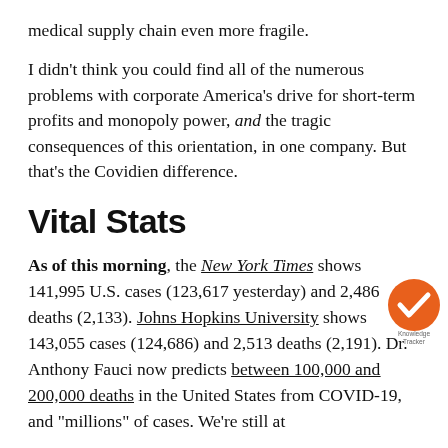medical supply chain even more fragile.
I didn’t think you could find all of the numerous problems with corporate America’s drive for short-term profits and monopoly power, and the tragic consequences of this orientation, in one company. But that’s the Covidien difference.
Vital Stats
As of this morning, the New York Times shows 141,995 U.S. cases (123,617 yesterday) and 2,486 deaths (2,133). Johns Hopkins University shows 143,055 cases (124,686) and 2,513 deaths (2,191). Dr. Anthony Fauci now predicts between 100,000 and 200,000 deaths in the United States from COVID-19, and “millions” of cases. We’re still at
[Figure (logo): Orange circular badge with white checkmark, labeled 'Knowledge Tracker']